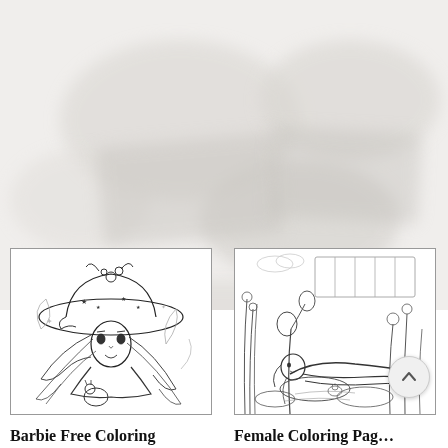[Figure (photo): Blurred background photo of coloring pages/art supplies scene, light gray-white tones]
[Figure (illustration): Coloring page illustration: girl with wide-brimmed hat decorated with flowers and stars, long flowing hair, holding a small animal, line art style]
Barbie Free Coloring Pages Barbie Coloring
[Figure (illustration): Coloring page illustration: female figure lying in a garden/pond scene with flowers, lily pads, and nature elements, detailed line art]
Female Coloring Pages Queen Coloring Pages